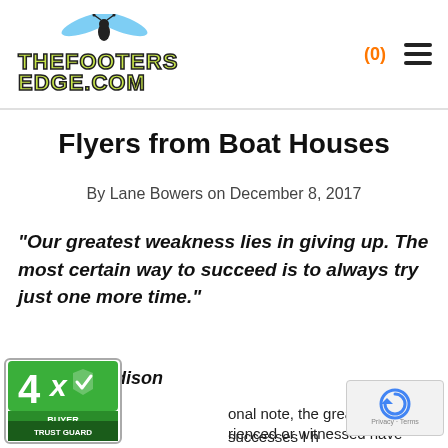thefootersedge.com — (0) menu
Flyers from Boat Houses
By Lane Bowers on December 8, 2017
“Our greatest weakness lies in giving up. The most certain way to succeed is to always try just one more time.”
- Thomas Edison
onal note, the greatest successes I h rienced or witnessed have been peo